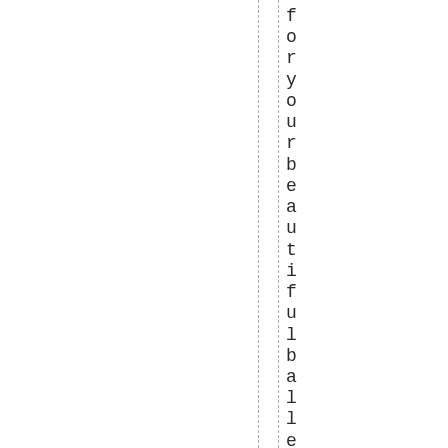for your beautiful ballerina .ofc